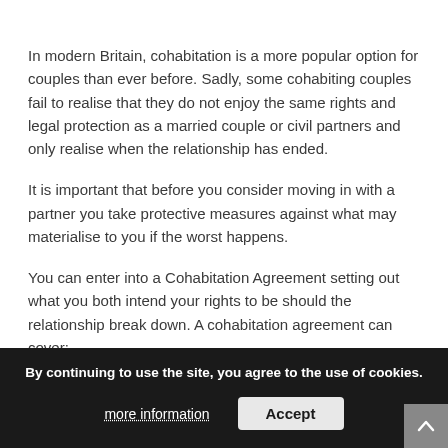In modern Britain, cohabitation is a more popular option for couples than ever before. Sadly, some cohabiting couples fail to realise that they do not enjoy the same rights and legal protection as a married couple or civil partners and only realise when the relationship has ended.
It is important that before you consider moving in with a partner you take protective measures against what may materialise to you if the worst happens.
You can enter into a Cohabitation Agreement setting out what you both intend your rights to be should the relationship break down. A cohabitation agreement can cover:
Arrangements for any children.
Whether the property is jointly owned, and if so in what shares it